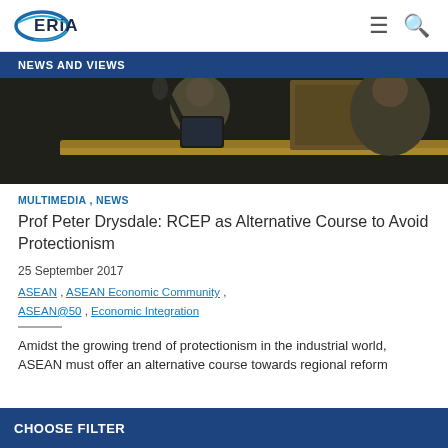ERIA [logo] [menu icon] [search icon]
NEWS AND VIEWS
[Figure (photo): A person at a podium/lectern, partially visible, holding papers, with a gold/brass railing in the foreground]
MULTIMEDIA , NEWS
Prof Peter Drysdale: RCEP as Alternative Course to Avoid Protectionism
25 September 2017
ASEAN , ASEAN Economic Community , ASEAN@50 , Economic Integration
Amidst the growing trend of protectionism in the industrial world, ASEAN must offer an alternative course towards regional reform
CHOOSE FILTER